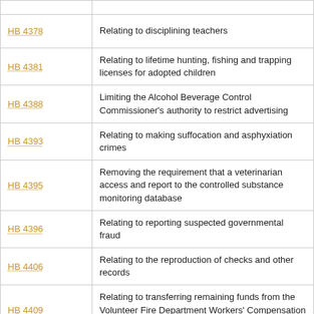| Bill | Description |
| --- | --- |
| HB 4378 | Relating to disciplining teachers |
| HB 4381 | Relating to lifetime hunting, fishing and trapping licenses for adopted children |
| HB 4388 | Limiting the Alcohol Beverage Control Commissioner's authority to restrict advertising |
| HB 4393 | Relating to making suffocation and asphyxiation crimes |
| HB 4395 | Removing the requirement that a veterinarian access and report to the controlled substance monitoring database |
| HB 4396 | Relating to reporting suspected governmental fraud |
| HB 4406 | Relating to the reproduction of checks and other records |
| HB 4409 | Relating to transferring remaining funds from the Volunteer Fire Department Workers' Compensation Premium Subsidy Fund |
| HB 4410 | Permitting directors and executive officers of a banking institution to borrow from a banking institution with which he or she is connected |